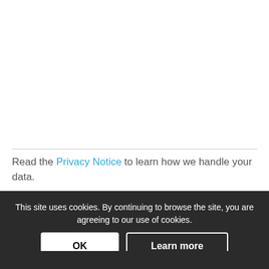Read the Privacy Notice to learn how we handle your data.
This site uses cookies. By continuing to browse the site, you are agreeing to our use of cookies.